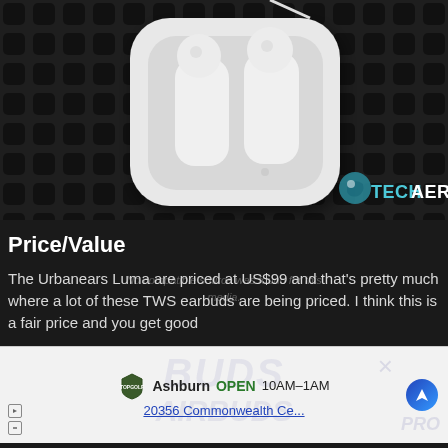[Figure (photo): Photo of white Urbanears Luma TWS earbuds in their white charging case, placed on a dark perforated grill surface. The case is open showing both earbuds. TECHAERIS logo watermark in bottom right corner.]
Price/Value
The Urbanears Luma are priced at US$99 and that's pretty much where a lot of these TWS earbuds are being priced. I think this is a fair price and you get good
[Figure (screenshot): Advertisement banner for Topgolf Ashburn. Shows 'OPEN 10AM-1AM' and address '20356 Commonwealth Ce...' with navigation icon. Background has faded text watermarks including 'BUDS X' and other product names.]